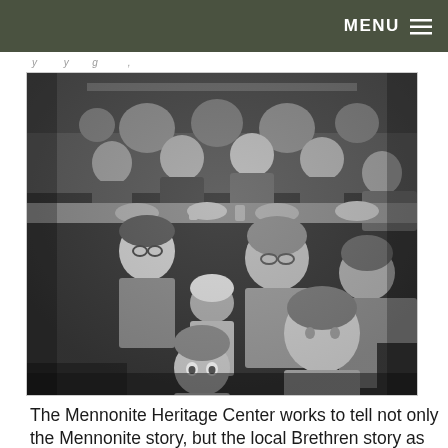MENU
[Figure (photo): Black and white photograph of a group of women and a child gathered at what appears to be a community meal or gathering, with plates and food visible on tables.]
The Mennonite Heritage Center works to tell not only the Mennonite story, but the local Brethren story as well. Recently the MHC received a donation of one of